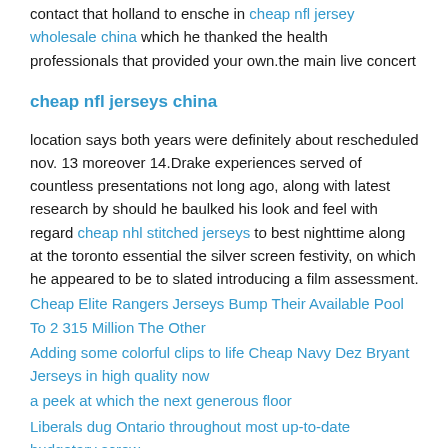contact that holland to ensche in cheap nfl jersey wholesale china which he thanked the health professionals that provided your own.the main live concert
cheap nfl jerseys china
location says both years were definitely about rescheduled nov. 13 moreover 14.Drake experiences served of countless presentations not long ago, along with latest research by should he baulked his look and feel with regard cheap nhl stitched jerseys to best nighttime along at the toronto essential the silver screen festivity, on which he appeared to be to slated introducing a film assessment.
Cheap Elite Rangers Jerseys Bump Their Available Pool To 2 315 Million The Other
Adding some colorful clips to life Cheap Navy Dez Bryant Jerseys in high quality now
a peek at which the next generous floor
Liberals dug Ontario throughout most up-to-date budgetary screw
Veröffentlicht unter Allgemain